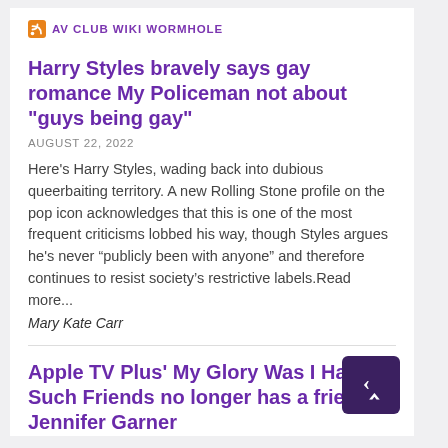AV CLUB WIKI WORMHOLE
Harry Styles bravely says gay romance My Policeman not about "guys being gay"
AUGUST 22, 2022
Here's Harry Styles, wading back into dubious queerbaiting territory. A new Rolling Stone profile on the pop icon acknowledges that this is one of the most frequent criticisms lobbed his way, though Styles argues he's never “publicly been with anyone” and therefore continues to resist society’s restrictive labels.Read more...
Mary Kate Carr
Apple TV Plus' My Glory Was I Had Such Friends no longer has a friend in Jennifer Garner
AUGUST 22, 2022
In today’s dose of irony: Apple TV+’s long-germinating series My Glory Was I Had Such Friends appears to have lost both a friend and the potential for glory. Per Deadline, star Jennifer